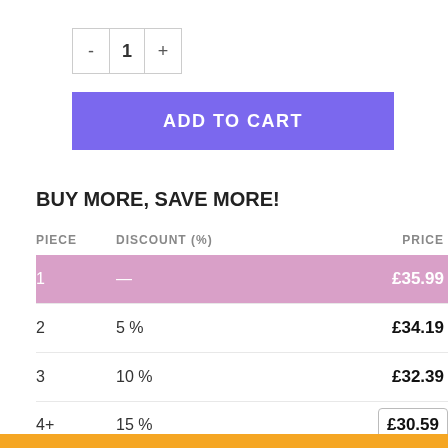[Figure (other): Quantity selector control with minus button, number 1, and plus button]
ADD TO CART
BUY MORE, SAVE MORE!
| PIECE | DISCOUNT (%) | PRICE |
| --- | --- | --- |
| 1 | — | £35.99 |
| 2 | 5 % | £34.19 |
| 3 | 10 % | £32.39 |
| 4+ | 15 % | £30.59 |